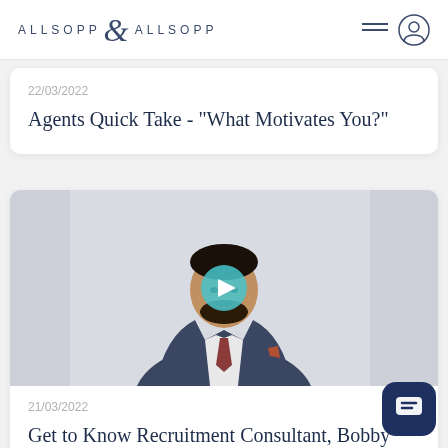ALLSOPP & ALLSOPP
22/03/2022
Agents Quick Take - "What Motivates You?"
[Figure (photo): Video thumbnail showing a man in a dark suit and burgundy tie smiling, with a play button overlay]
21/03/2022
Get to Know Recruitment Consultant, Bobby